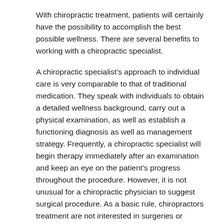With chiropractic treatment, patients will certainly have the possibility to accomplish the best possible wellness. There are several benefits to working with a chiropractic specialist.
A chiropractic specialist's approach to individual care is very comparable to that of traditional medication. They speak with individuals to obtain a detailed wellness background, carry out a physical examination, as well as establish a functioning diagnosis as well as management strategy. Frequently, a chiropractic specialist will begin therapy immediately after an examination and keep an eye on the patient's progress throughout the procedure. However, it is not unusual for a chiropractic physician to suggest surgical procedure. As a basic rule, chiropractors treatment are not interested in surgeries or executing surgical procedures. Kelowna chiropractors clinic